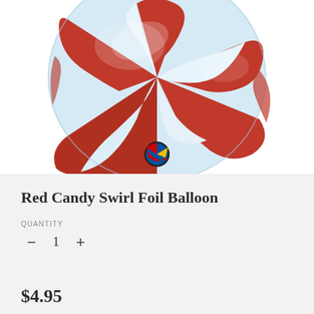[Figure (photo): A round foil balloon with a red and white candy swirl / peppermint swirl pattern on a white background. A small circular Qualatex brand logo badge is visible at the bottom center of the balloon.]
Red Candy Swirl Foil Balloon
QUANTITY
− 1 +
$4.95